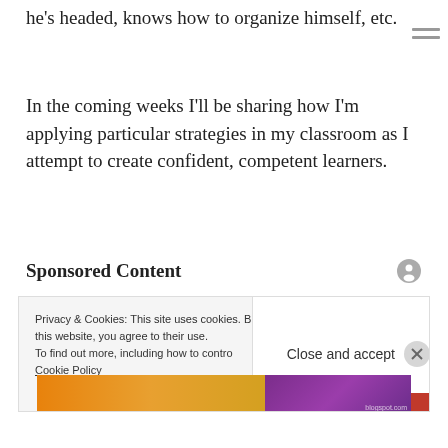he's headed, knows how to organize himself, etc.
In the coming weeks I'll be sharing how I'm applying particular strategies in my classroom as I attempt to create confident, competent learners.
Sponsored Content
Privacy & Cookies: This site uses cookies. By continuing to use this website, you agree to their use. To find out more, including how to control cookies, see here: Cookie Policy
Close and accept